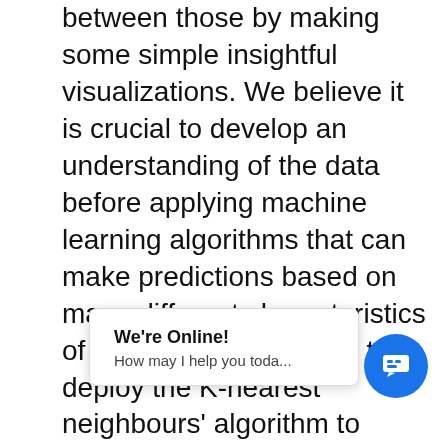between those by making some simple insightful visualizations. We believe it is crucial to develop an understanding of the data before applying machine learning algorithms that can make predictions based on many different characteristics of the claims. We chose to deploy the K-nearest neighbours' algorithm to predict whether a claim would be fraudulent or not. We chose the K-NN for various reasons. One of them is that the algorithm is intuitively to understand, which makes it easy to explain to non-data scientists at a company to believe in it and develop an idea on what is going on. Another reason is that it does not need a training period, it just stores the data and uses it to predict [obscured] he algorithm are th [obscured] ce data, it is developed for only numerical